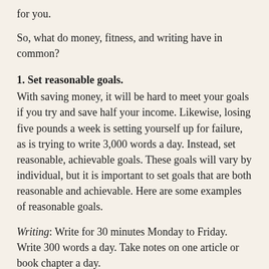for you.
So, what do money, fitness, and writing have in common?
1. Set reasonable goals.
With saving money, it will be hard to meet your goals if you try and save half your income. Likewise, losing five pounds a week is setting yourself up for failure, as is trying to write 3,000 words a day. Instead, set reasonable, achievable goals. These goals will vary by individual, but it is important to set goals that are both reasonable and achievable. Here are some examples of reasonable goals.
Writing: Write for 30 minutes Monday to Friday. Write 300 words a day. Take notes on one article or book chapter a day.
Fitness: Walk or bike to work once a week. Go to the gym three times a week. Avoid meat on Fridays. Avoid sugar on Tuesdays. Lose one pound a week.
Money: Only buy fancy coffee once a week. Put 10 percent of earnings in a savings account. Use 10 percent of earnings to pay